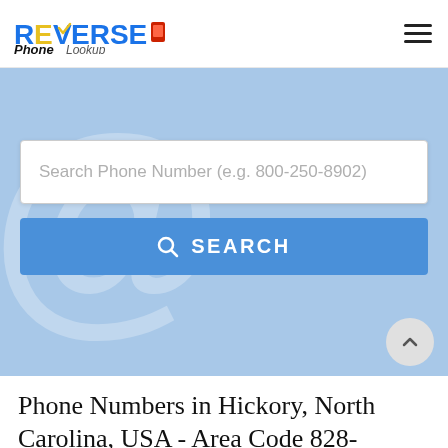Reverse Phone Lookup
[Figure (screenshot): Search hero section with a light blue background, a decorative @ symbol watermark, a white search input box with placeholder text 'Search Phone Number (e.g. 800-250-8902)', and a blue SEARCH button.]
Phone Numbers in Hickory, North Carolina, USA - Area Code 828-